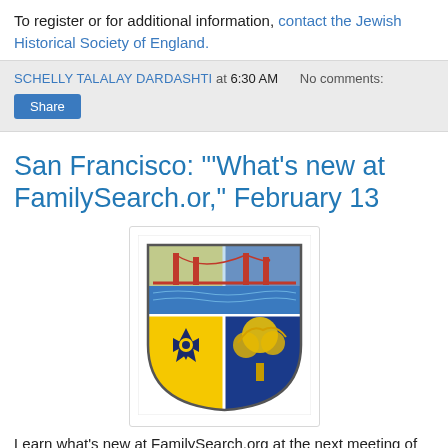To register or for additional information, contact the Jewish Historical Society of England.
SCHELLY TALALAY DARDASHTI at 6:30 AM   No comments:
Share
San Francisco: "What's new at FamilySearch.or," February 13
[Figure (illustration): Coat of arms / badge for San Francisco: shield divided into four quadrants with a golden bridge scene at top, a yellow field with Star of David at lower left, and a blue field with a golden tree at lower right.]
Learn what's new at FamilySearch.org at the next meeting of